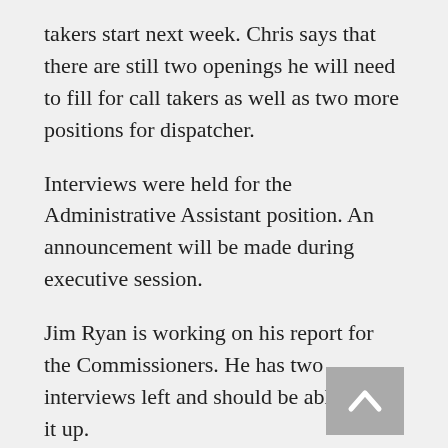takers start next week. Chris says that there are still two openings he will need to fill for call takers as well as two more positions for dispatcher.
Interviews were held for the Administrative Assistant position. An announcement will be made during executive session.
Jim Ryan is working on his report for the Commissioners. He has two interviews left and should be able finish it up.
Jim says he will be attending a meeting next week with the fire chiefs.